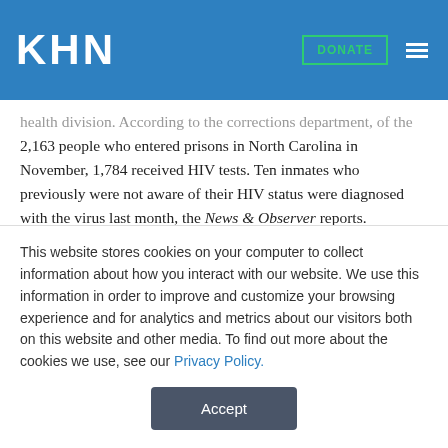KHN  DONATE
health division. According to the corrections department, of the 2,163 people who entered prisons in North Carolina in November, 1,784 received HIV tests. Ten inmates who previously were not aware of their HIV status were diagnosed with the virus last month, the News & Observer reports. Providing HIV/AIDS treatment to inmates costs the prison system about $1,700 per inmate monthly.
Public health officials this year asked prison officials to offer HIV tests as part of routine health screenings. HIV tests previously were offered based on a medical evaluation as inmates initially entered the system or when inmates requested tests. Under the new program
This website stores cookies on your computer to collect information about how you interact with our website. We use this information in order to improve and customize your browsing experience and for analytics and metrics about our visitors both on this website and other media. To find out more about the cookies we use, see our Privacy Policy.
Accept